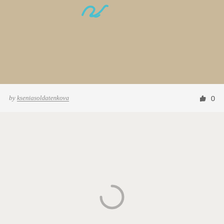[Figure (photo): Top image block with tan/beige background color and a small teal logo/icon visible at the top center]
by kseniasoldatenkova  👍 0
[Figure (photo): Light gray/off-white image block with a loading spinner (circular arc) visible near the bottom center, indicating an image is loading]